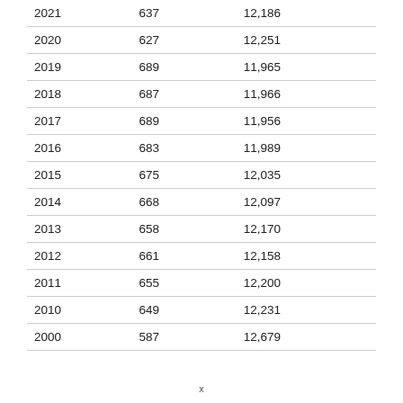| 2021 | 637 | 12,186 |
| 2020 | 627 | 12,251 |
| 2019 | 689 | 11,965 |
| 2018 | 687 | 11,966 |
| 2017 | 689 | 11,956 |
| 2016 | 683 | 11,989 |
| 2015 | 675 | 12,035 |
| 2014 | 668 | 12,097 |
| 2013 | 658 | 12,170 |
| 2012 | 661 | 12,158 |
| 2011 | 655 | 12,200 |
| 2010 | 649 | 12,231 |
| 2000 | 587 | 12,679 |
x